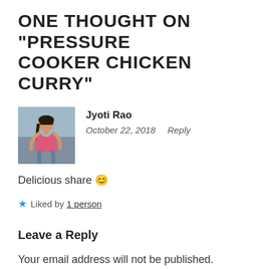ONE THOUGHT ON "PRESSURE COOKER CHICKEN CURRY"
[Figure (photo): Profile photo of Jyoti Rao — a woman with sunglasses, wearing a pink top, seated outdoors.]
Jyoti Rao
October 22, 2018   Reply
Delicious share 😊
★ Liked by 1 person
Leave a Reply
Your email address will not be published. Required fields are marked *